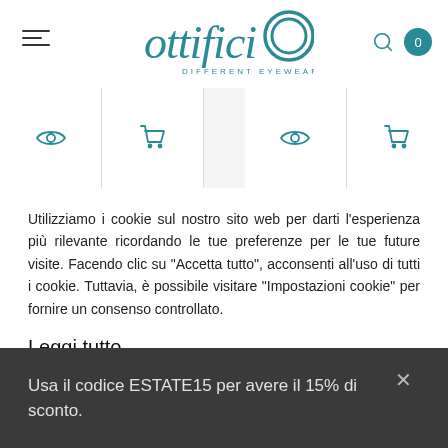[Figure (logo): Ottificio Different Eyewear logo in teal/dark cyan color with stylized italic text and circular O element]
[Figure (screenshot): Product row with eye icon and cart icon buttons for two product cards, separated by a gray gap]
Utilizziamo i cookie sul nostro sito web per darti l'esperienza più rilevante ricordando le tue preferenze per le tue future visite. Facendo clic su "Accetta tutto", acconsenti all'uso di tutti i cookie. Tuttavia, è possibile visitare "Impostazioni cookie" per fornire un consenso controllato.
Leggi tutto
Usa il codice ESTATE15 per avere il 15% di sconto.